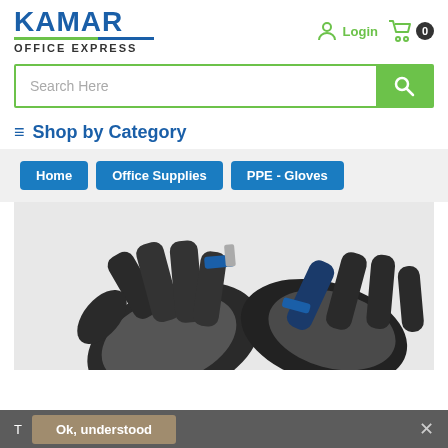[Figure (logo): Kamar Office Express logo with blue KAMAR text, green/blue underline, and OFFICE EXPRESS subtitle]
[Figure (screenshot): Login icon (person silhouette) and shopping cart icon with badge showing 0]
[Figure (screenshot): Search bar with 'Search Here' placeholder and green search button with magnifier icon]
≡ Shop by Category
Home
Office Supplies
PPE - Gloves
[Figure (photo): Close-up photo of black and grey work/PPE gloves with blue accents on grey background]
T
Ok, understood
✕